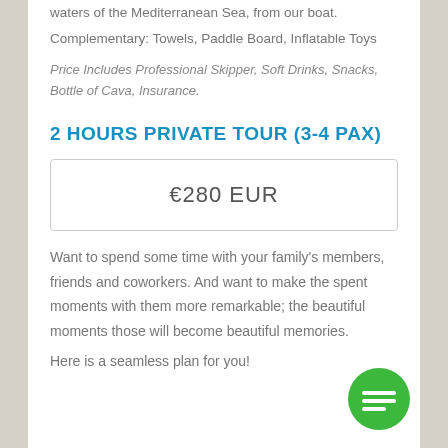waters of the Mediterranean Sea, from our boat.
Complementary: Towels, Paddle Board, Inflatable Toys
Price Includes Professional Skipper, Soft Drinks, Snacks, Bottle of Cava, Insurance.
2 HOURS PRIVATE TOUR (3-4 PAX)
| €280 EUR |
Want to spend some time with your family's members, friends and coworkers. And want to make the spent moments with them more remarkable; the beautiful moments those will become beautiful memories.
Here is a seamless plan for you!